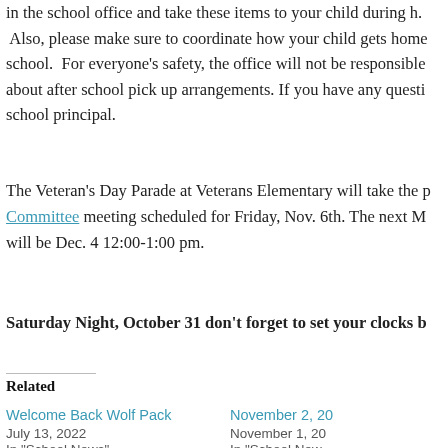in the school office and take these items to your child during h. Also, please make sure to coordinate how your child gets home school. For everyone's safety, the office will not be responsible about after school pick up arrangements. If you have any questi school principal.
The Veteran's Day Parade at Veterans Elementary will take the p Committee meeting scheduled for Friday, Nov. 6th. The next M will be Dec. 4 12:00-1:00 pm.
Saturday Night, October 31 don't forget to set your clocks b
Related
Welcome Back Wolf Pack
July 13, 2022
In "School News"
November 2, 20
November 1, 20
In "School New
Arrival Reminders
July 20, 2022